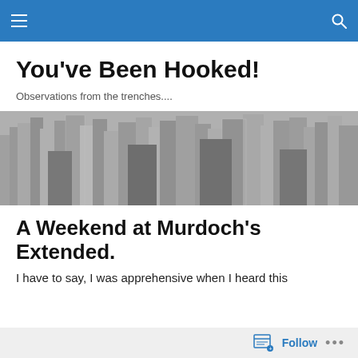Navigation bar with hamburger menu and search icon
You've Been Hooked!
Observations from the trenches....
[Figure (photo): Black and white aerial photograph of a dense city skyline with tall skyscrapers]
A Weekend at Murdoch’s Extended.
I have to say, I was apprehensive when I heard this
Follow ...